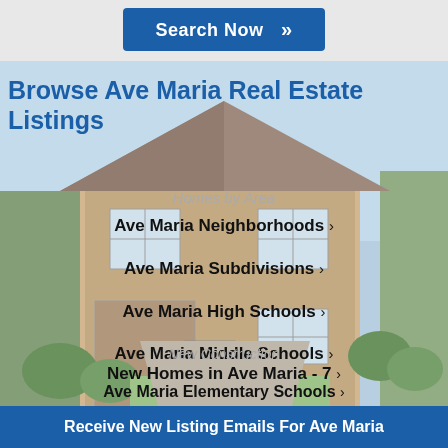[Figure (screenshot): Search Now button with double chevron on grey background]
Browse Ave Maria Real Estate Listings
Homes by Area
Ave Maria Neighborhoods >
Ave Maria Subdivisions >
Ave Maria High Schools >
Ave Maria Middle Schools >
Ave Maria Elementary Schools >
New Construction
New Homes in Ave Maria - 7 >
Receive New Listing Emails For Ave Maria